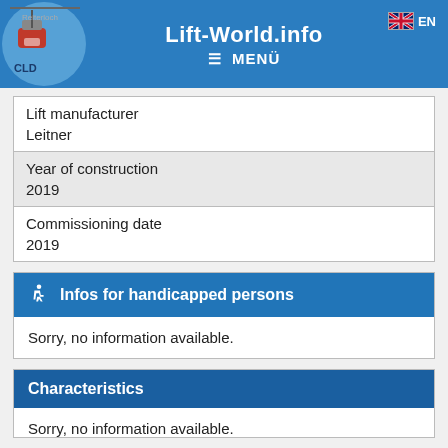Lift-World.info  ≡ MENÜ  EN
| Lift manufacturer | Leitner |
| Year of construction | 2019 |
| Commissioning date | 2019 |
Infos for handicapped persons
Sorry, no information available.
Characteristics
Sorry, no information available.